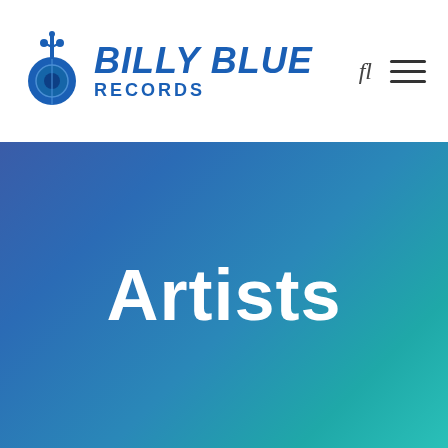[Figure (logo): Billy Blue Records logo with guitar icon and bold blue text]
Billy Blue Records — navigation header with search and menu icons
Artists